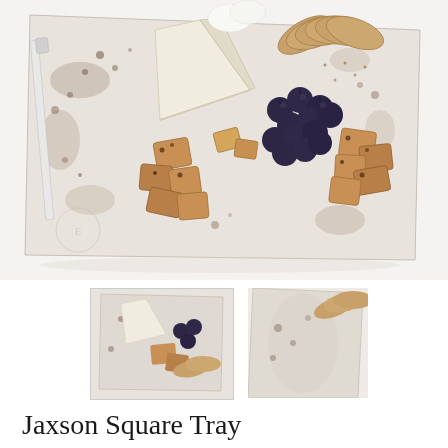[Figure (photo): Overhead photo of a rustic distressed white square tray (Jaxson Square Tray) loaded with a charcuterie/cheese board arrangement: crackers, brie cheese, blueberries, bread pieces/biscotti, and whipped cream or soft cheese, arranged on a white background.]
[Figure (photo): Small thumbnail of the same charcuterie tray from above, showing bread, blueberries, and crackers.]
[Figure (photo): Small thumbnail showing a close-up angle of the distressed white tray edge with crackers visible.]
Jaxson Square Tray